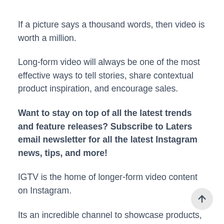If a picture says a thousand words, then video is worth a million.
Long-form video will always be one of the most effective ways to tell stories, share contextual product inspiration, and encourage sales.
Want to stay on top of all the latest trends and feature releases? Subscribe to Laters email newsletter for all the latest Instagram news, tips, and more!
IGTV is the home of longer-form video content on Instagram.
Its an incredible channel to showcase products, styling tips, and step-by-step tutorials the kind of content that really resonates with audiences and absolutely hits...